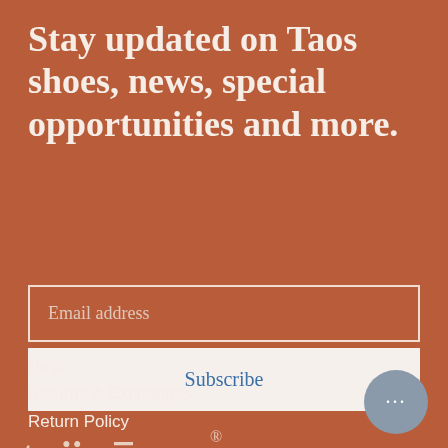Stay updated on Taos shoes, news, special opportunities and more.
Email address
Subscribe
[Figure (logo): Taos brand logo in stylized serif font with umlauts on 'a' and macron over 'o', followed by registered trademark symbol]
Help
Returns & Exchanges
Return Policy